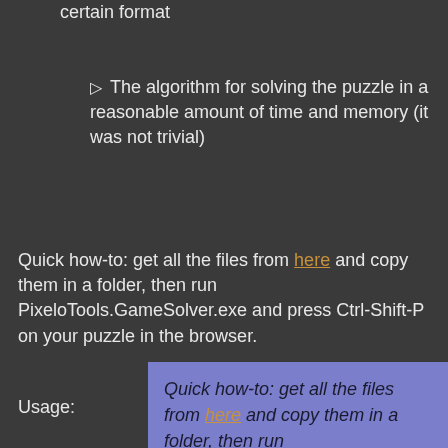Parsing a neutral image for digits in a certain format
The algorithm for solving the puzzle in a reasonable amount of time and memory (it was not trivial)
Quick how-to: get all the files from here and copy them in a folder, then run PixeloTools.GameSolver.exe and press Ctrl-Shift-P on your puzzle in the browser.
Usage:
Quick how-to: get all the files from here and copy them in a folder, then run PixeloTools.GameSolver.exe